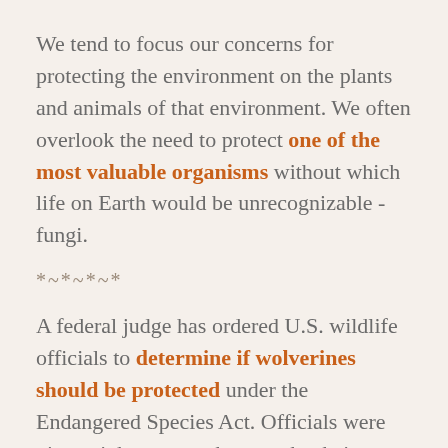We tend to focus our concerns for protecting the environment on the plants and animals of that environment. We often overlook the need to protect one of the most valuable organisms without which life on Earth would be unrecognizable - fungi.
*~*~*~*
A federal judge has ordered U.S. wildlife officials to determine if wolverines should be protected under the Endangered Species Act. Officials were given eighteen months to make their decision.